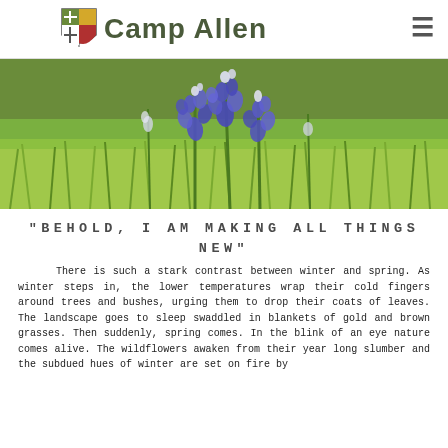Camp Allen
[Figure (photo): Close-up photograph of bluebonnets (blue/purple wildflowers) with green grass in the background]
"BEHOLD, I AM MAKING ALL THINGS NEW"
There is such a stark contrast between winter and spring. As winter steps in, the lower temperatures wrap their cold fingers around trees and bushes, urging them to drop their coats of leaves. The landscape goes to sleep swaddled in blankets of gold and brown grasses. Then suddenly, spring comes. In the blink of an eye nature comes alive. The wildflowers awaken from their year long slumber and the subdued hues of winter are set on fire by